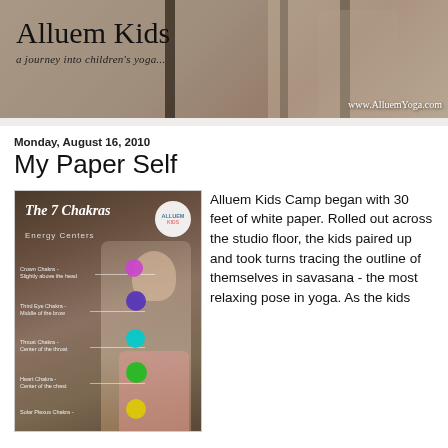[Figure (photo): Alluem Kids blog header banner showing a child in a yoga-related setting with singing bowl, overlaid with 'Alluem Kids - a journey into children's yoga...' text and website URL www.AlluemYoga.com]
Monday, August 16, 2010
My Paper Self
[Figure (photo): Image of a young girl in a pink shirt with eyes closed, overlaid with The 7 Chakras Energy Centers diagram with colored dots (purple, indigo, cyan, green, yellow) at various chakra positions, and the Alluem Kids logo in the upper right corner]
Alluem Kids Camp began with 30 feet of white paper. Rolled out across the studio floor, the kids paired up and took turns tracing the outline of themselves in savasana - the most relaxing pose in yoga. As the kids...